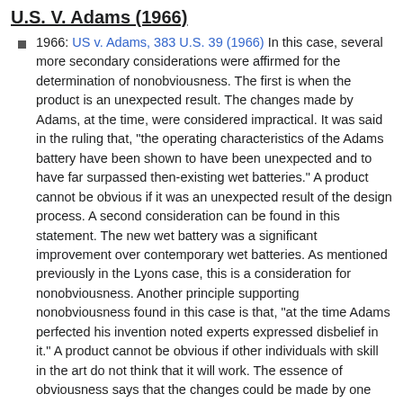U.S. V. Adams (1966)
1966: US v. Adams, 383 U.S. 39 (1966) In this case, several more secondary considerations were affirmed for the determination of nonobviousness. The first is when the product is an unexpected result. The changes made by Adams, at the time, were considered impractical. It was said in the ruling that, "the operating characteristics of the Adams battery have been shown to have been unexpected and to have far surpassed then-existing wet batteries." A product cannot be obvious if it was an unexpected result of the design process. A second consideration can be found in this statement. The new wet battery was a significant improvement over contemporary wet batteries. As mentioned previously in the Lyons case, this is a consideration for nonobviousness. Another principle supporting nonobviousness found in this case is that, "at the time Adams perfected his invention noted experts expressed disbelief in it." A product cannot be obvious if other individuals with skill in the art do not think that it will work. The essence of obviousness says that the changes could be made by one with ordinary skill. These changes would not be obvious if experts in the art do not believe that they will be successful. One additional component to note in this case is that although the alterations were small improvements, by the final statement in section 103 that the complexity of the development process is irrelevant, this patent is still valid.
Anderson's Black Rock v. Pavement Salvage (1969)